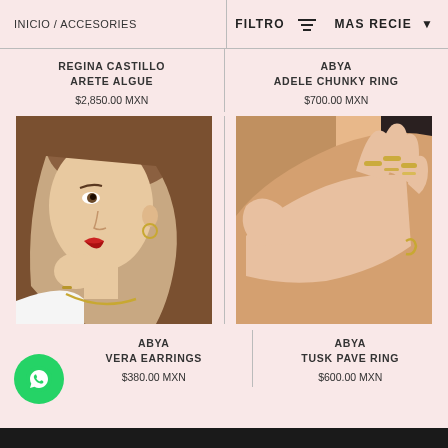INICIO / ACCESORIES   FILTRO   MAS RECIE
REGINA CASTILLO
ARETE ALGUE
$2,850.00 MXN
ABYA
ADELE CHUNKY RING
$700.00 MXN
[Figure (photo): Woman in profile showing earring, wearing white blouse and gold necklace]
[Figure (photo): Close-up of hands with gold rings against bare shoulder]
ABYA
VERA EARRINGS
$380.00 MXN
ABYA
TUSK PAVE RING
$600.00 MXN